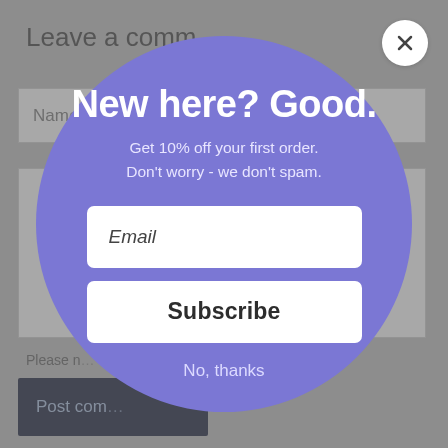[Figure (screenshot): Background webpage showing a 'Leave a comment' form with Name input field, text area, 'Please...' instruction text, and a dark 'Post com...' button, all dimmed behind a modal popup]
[Figure (infographic): Circular modal popup with purple/violet background (#7b77d4) containing newsletter signup. Title: 'New here? Good.' Subtitle: 'Get 10% off your first order. Don't worry - we don't spam.' An Email input field, a Subscribe button, and 'No, thanks' link. A white circular close button with X is in the top-right corner of the page.]
New here? Good.
Get 10% off your first order.
Don't worry - we don't spam.
Email
Subscribe
No, thanks